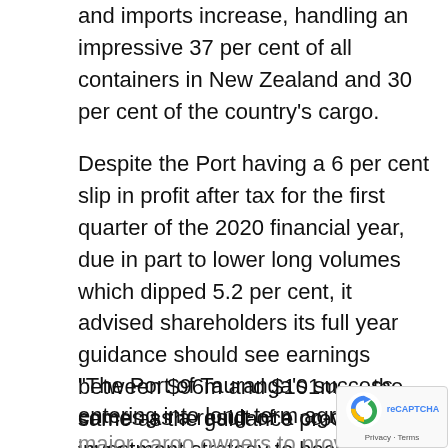and imports increase, handling an impressive 37 per cent of all containers in New Zealand and 30 per cent of the country's cargo.
Despite the Port having a 6 per cent slip in profit after tax for the first quarter of the 2020 financial year, due in part to lower long volumes which dipped 5.2 per cent, it advised shareholders its full year guidance should see earnings between $96m and $101m — the same as the guidance provided last year.
“The Port of Tauranga’s success comes as a result of a co-ordinated investment strategy to become ‘big ship capable’ and at the same time entering into long-term agreements with its major cargo owners to provide services and